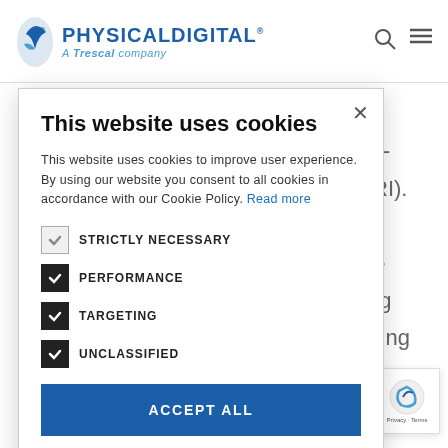[Figure (logo): PhysicalDigital - A Trescal company logo with blue bird/shield icon]
This website uses cookies
This website uses cookies to improve user experience. By using our website you consent to all cookies in accordance with our Cookie Policy. Read more
STRICTLY NECESSARY
PERFORMANCE
TARGETING
UNCLASSIFIED
ACCEPT ALL
SHOW DETAILS